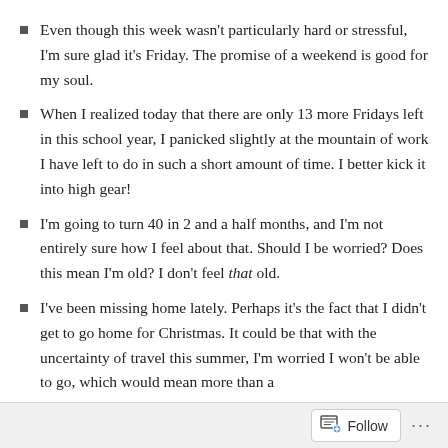Even though this week wasn't particularly hard or stressful, I'm sure glad it's Friday. The promise of a weekend is good for my soul.
When I realized today that there are only 13 more Fridays left in this school year, I panicked slightly at the mountain of work I have left to do in such a short amount of time. I better kick it into high gear!
I'm going to turn 40 in 2 and a half months, and I'm not entirely sure how I feel about that. Should I be worried? Does this mean I'm old? I don't feel that old.
I've been missing home lately. Perhaps it's the fact that I didn't get to go home for Christmas. It could be that with the uncertainty of travel this summer, I'm worried I won't be able to go, which would mean more than a
Follow ...